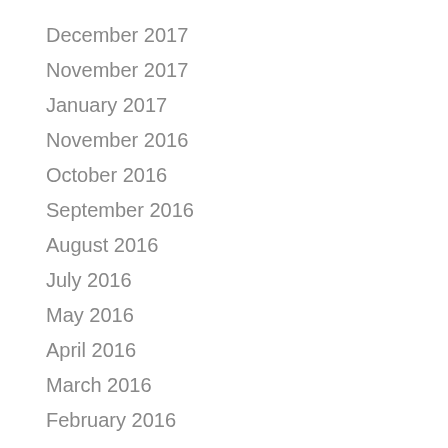December 2017
November 2017
January 2017
November 2016
October 2016
September 2016
August 2016
July 2016
May 2016
April 2016
March 2016
February 2016
January 2016
December 2015
November 2015